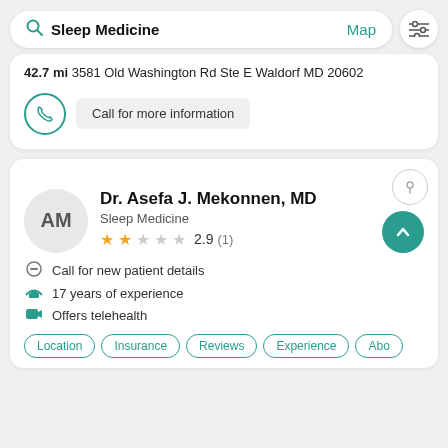[Figure (screenshot): Search bar with 'Sleep Medicine' text and 'Map' link, plus filter icon button]
42.7 mi 3581 Old Washington Rd Ste E Waldorf MD 20602
Call for more information
Dr. Asefa J. Mekonnen, MD
Sleep Medicine
2.9 (1)
Call for new patient details
17 years of experience
Offers telehealth
Location  Insurance  Reviews  Experience  Abo